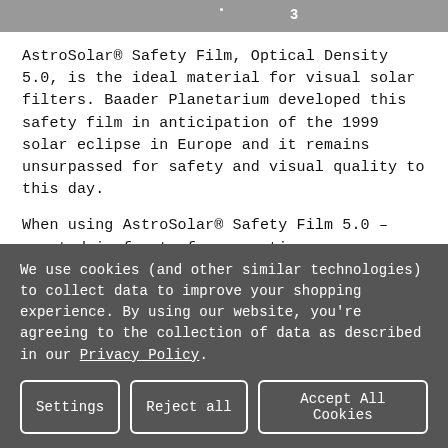[Figure (photo): Grayscale image strip at the top of the page, appears to show a solar or astronomical image with faint star-like dots and a numeral '3' visible.]
AstroSolar® Safety Film, Optical Density 5.0, is the ideal material for visual solar filters. Baader Planetarium developed this safety film in anticipation of the 1999 solar eclipse in Europe and it remains unsurpassed for safety and visual quality to this day.
When using AstroSolar® Safety Film 5.0 – mounted in front of your optics – you can image the Sun and safely look through the viewfinder of your camera – or you can directly look into the Sun with telescopes and binoculars at any suitable magnification.
We use cookies (and other similar technologies) to collect data to improve your shopping experience. By using our website, you're agreeing to the collection of data as described in our Privacy Policy.